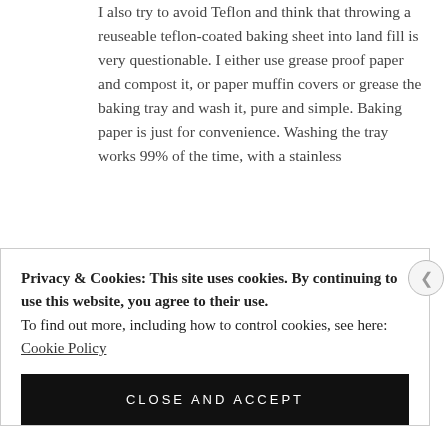I also try to avoid Teflon and think that throwing a reuseable teflon-coated baking sheet into land fill is very questionable. I either use grease proof paper and compost it, or paper muffin covers or grease the baking tray and wash it, pure and simple. Baking paper is just for convenience. Washing the tray works 99% of the time, with a stainless
Privacy & Cookies: This site uses cookies. By continuing to use this website, you agree to their use.
To find out more, including how to control cookies, see here: Cookie Policy
CLOSE AND ACCEPT